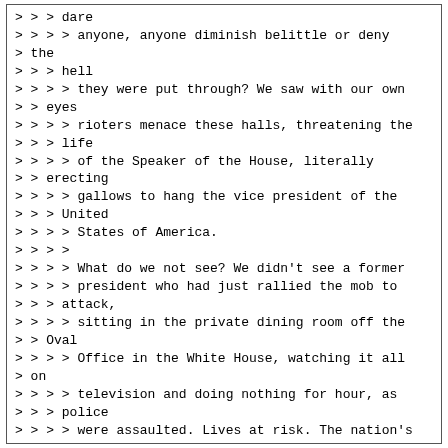> > > dare
> > > > anyone, anyone diminish belittle or deny
> the
> > > hell
> > > > they were put through? We saw with our own
> > eyes
> > > > rioters menace these halls, threatening the
> > > life
> > > > of the Speaker of the House, literally
> > erecting
> > > > gallows to hang the vice president of the
> > > United
> > > > States of America.
> > > >
> > > > What do we not see? We didn't see a former
> > > > president who had just rallied the mob to
> > > attack,
> > > > sitting in the private dining room off the
> > Oval
> > > > Office in the White House, watching it all
> on
> > > > television and doing nothing for hour, as
> > > police
> > > > were assaulted. Lives at risk. The nation's
> > > > capital under siege.
> > > >
> > > > This wasn't a group of tourists. This is an
> > > armed
> > > > insurrection. They weren't looking to
> uphold
> > > the
> > > > will of the people. They were looking to